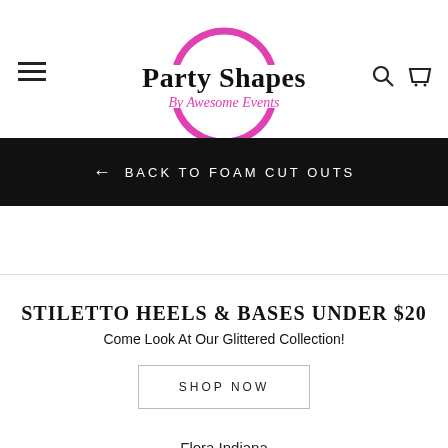Party Shapes By Awesome Events
BACK TO FOAM CUT OUTS
STILETTO HEELS & BASES UNDER $20
Come Look At Our Glittered Collection!
SHOP NOW
Flora Indiana